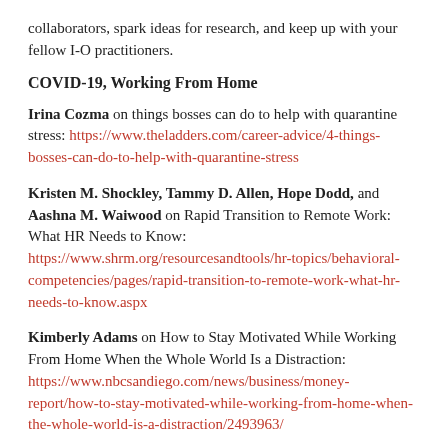collaborators, spark ideas for research, and keep up with your fellow I-O practitioners.
COVID-19, Working From Home
Irina Cozma on things bosses can do to help with quarantine stress: https://www.theladders.com/career-advice/4-things-bosses-can-do-to-help-with-quarantine-stress
Kristen M. Shockley, Tammy D. Allen, Hope Dodd, and Aashna M. Waiwood on Rapid Transition to Remote Work: What HR Needs to Know: https://www.shrm.org/resourcesandtools/hr-topics/behavioral-competencies/pages/rapid-transition-to-remote-work-what-hr-needs-to-know.aspx
Kimberly Adams on How to Stay Motivated While Working From Home When the Whole World Is a Distraction: https://www.nbcsandiego.com/news/business/money-report/how-to-stay-motivated-while-working-from-home-when-the-whole-world-is-a-distraction/2493963/
Kristen Shockley on the impact of the rapid shift to remote